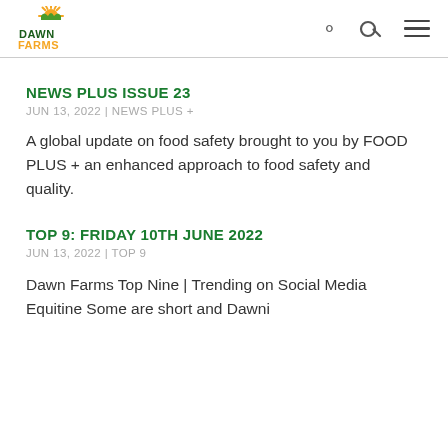[Figure (logo): Dawn Farms logo with stylized sun and green/orange text]
NEWS PLUS ISSUE 23
JUN 13, 2022 | NEWS PLUS +
A global update on food safety brought to you by FOOD PLUS + an enhanced approach to food safety and quality.
TOP 9: FRIDAY 10TH JUNE 2022
JUN 13, 2022 | TOP 9
Dawn Farms Top Nine | Trending on Social Media Equitine Some are short and Dawni...